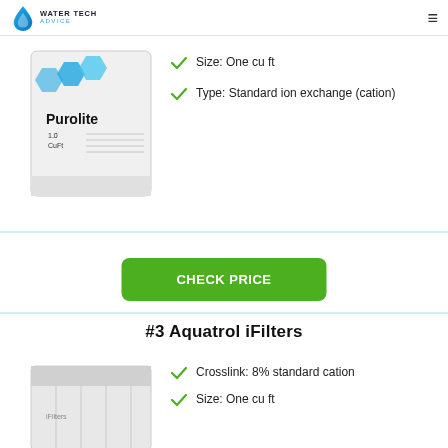WATER TECH ADVICE
[Figure (photo): Purolite ion exchange resin bag, 1.0 CuFt, white bag with blue hexagon logo shapes]
Size: One cu ft
Type: Standard ion exchange (cation)
CHECK PRICE
#3 Aquatrol iFilters
[Figure (photo): Aquatrol iFilters water softener resin bag, white/grey bag]
Crosslink: 8% standard cation
Size: One cu ft